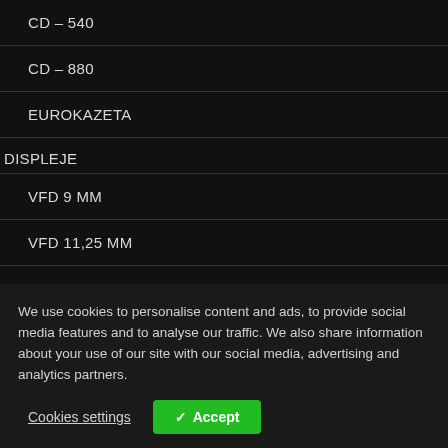CD – 540
CD – 880
EUROKAZETA
DISPLEJE
VFD 9 MM
VFD 11,25 MM
LCD 2 X 20
BIXOLON BCD-2000 USB
PD500-I
PD800-I
CHD VP-300
CHD VP-700
We use cookies to personalise content and ads, to provide social media features and to analyse our traffic. We also share information about your use of our site with our social media, advertising and analytics partners.